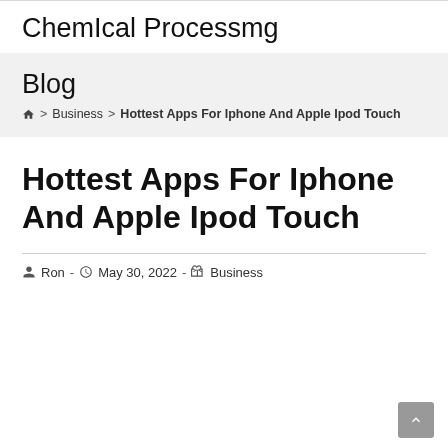ChemIcal Processmg
Blog
⌂ > Business > Hottest Apps For Iphone And Apple Ipod Touch
Hottest Apps For Iphone And Apple Ipod Touch
Ron - May 30, 2022 - Business